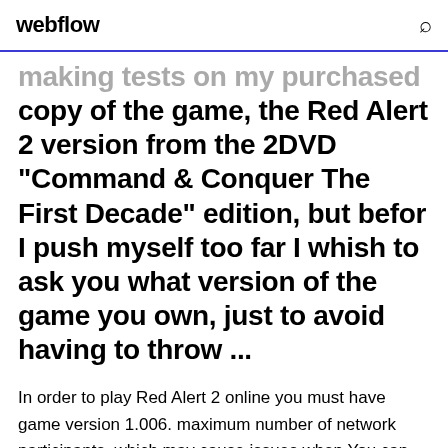webflow
making tests on my purchased copy of the game, the Red Alert 2 version from the 2DVD "Command & Conquer The First Decade" edition, but befor I push myself too far I whish to ask you what version of the game you own, just to avoid having to throw ...
In order to play Red Alert 2 online you must have game version 1.006. maximum number of network participants, which may cause issues when You can not create any network or